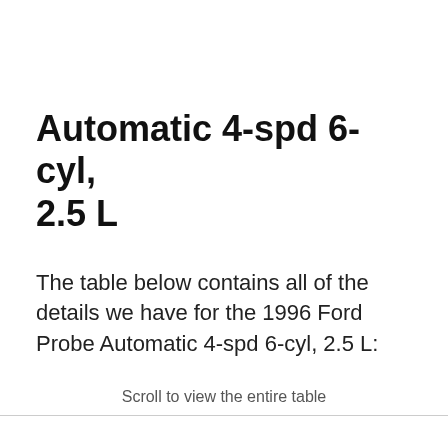Automatic 4-spd 6-cyl, 2.5 L
The table below contains all of the details we have for the 1996 Ford Probe Automatic 4-spd 6-cyl, 2.5 L:
Scroll to view the entire table